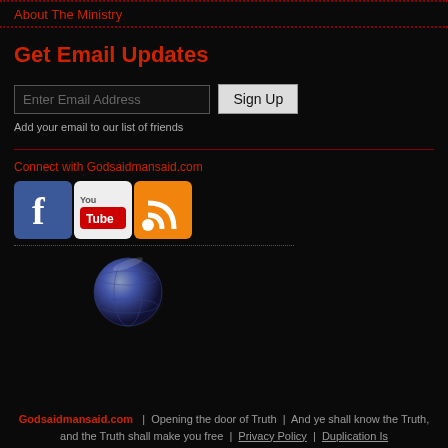About The Ministry
Get Email Updates
[Figure (screenshot): Email sign-up form with input field labeled 'Enter Email Address' and a 'Sign Up' button]
Add your email to our list of friends
Connect with Godsaidmansaid.com
[Figure (illustration): Social media icons: Facebook, YouTube, RSS feed]
[Figure (illustration): Globe/sphere icon in dark blue-grey]
Godsaidmansaid.com | Opening the door of Truth | And ye shall know the Truth, and the Truth shall make you free | Privacy Policy | Duplication Is